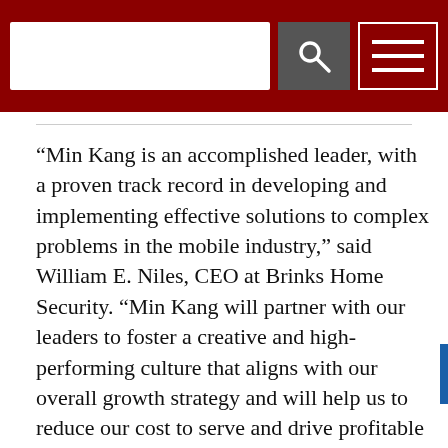[Figure (screenshot): Website header with dark red background, white search input box, grey search button with magnifying glass icon, and white-bordered hamburger menu icon on the right.]
“Min Kang is an accomplished leader, with a proven track record in developing and implementing effective solutions to complex problems in the mobile industry,” said William E. Niles, CEO at Brinks Home Security. “Min Kang will partner with our leaders to foster a creative and high-performing culture that aligns with our overall growth strategy and will help us to reduce our cost to serve and drive profitable growth.”
Kang was most recently at Samsung Electronics, where she led their U.S. content and service, and CX strategy as well as various growth initiatives. With more than 14 years of global experience in product management, new business development, partnership,